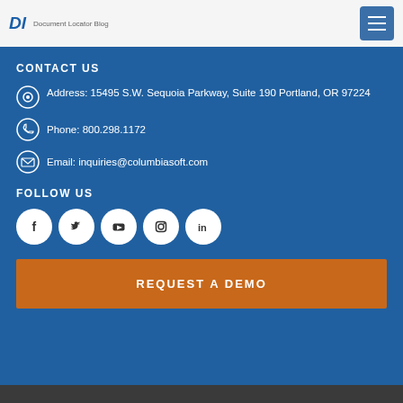DL Document Locator Blog
CONTACT US
Address: 15495 S.W. Sequoia Parkway, Suite 190 Portland, OR 97224
Phone: 800.298.1172
Email: inquiries@columbiasoft.com
FOLLOW US
[Figure (infographic): Social media icons: Facebook, Twitter, YouTube, Instagram, LinkedIn — white circles on blue background]
REQUEST A DEMO